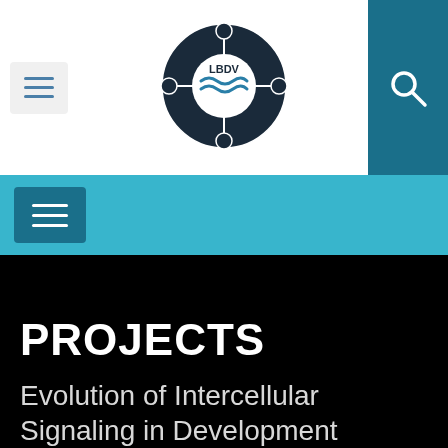LBDV logo with navigation menu and search button
[Figure (logo): LBDV circular logo — dark navy segmented ring with four circular nodes, center circle containing wave motif and LBDV text]
Navigation bar with hamburger menu icon
PROJECTS
Evolution of Intercellular Signaling in Development